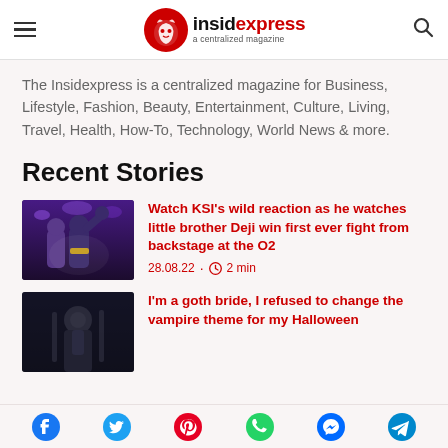insidexpress — a centralized magazine
The Insidexpress is a centralized magazine for Business, Lifestyle, Fashion, Beauty, Entertainment, Culture, Living, Travel, Health, How-To, Technology, World News & more.
Recent Stories
[Figure (photo): Boxing event photo showing fighters with hands raised under purple lighting]
Watch KSI's wild reaction as he watches little brother Deji win first ever fight from backstage at the O2
28.08.22 · 2 min
[Figure (photo): Dark moody photo of a person in gothic/vampire themed attire]
I'm a goth bride, I refused to change the vampire theme for my Halloween